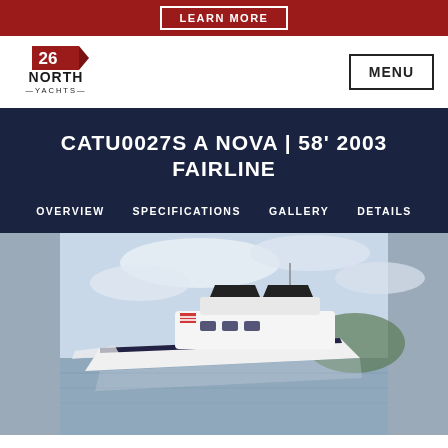LEARN MORE
[Figure (logo): 26 North Yachts logo — red flag with '26', bold text 'NORTH' and '—YACHTS—' below]
MENU
CATU0027S A NOVA | 58' 2003 FAIRLINE
OVERVIEW   SPECIFICATIONS   GALLERY   DETAILS
[Figure (photo): White luxury motor yacht (58' 2003 Fairline) moored on calm water with cloudy sky and green hills in background. American flag visible on the vessel.]